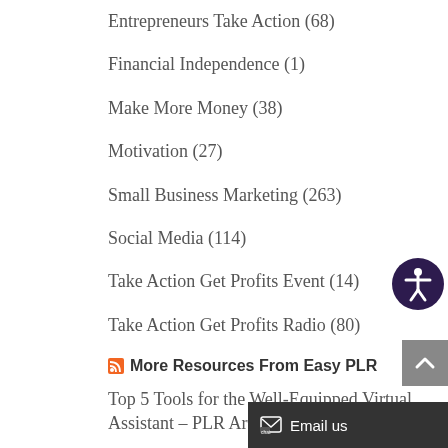Entrepreneurs Take Action (68)
Financial Independence (1)
Make More Money (38)
Motivation (27)
Small Business Marketing (263)
Social Media (114)
Take Action Get Profits Event (14)
Take Action Get Profits Radio (80)
More Resources From Easy PLR
Top 5 Tools for the Well-Equipped Virtual Assistant – PLR Articles
[Figure (illustration): Circular accessibility icon (person with arms outstretched, dark purple background)]
[Figure (illustration): Scroll to top button, upward chevron, grey background]
[Figure (illustration): Email us chat button, dark background with chat icon]